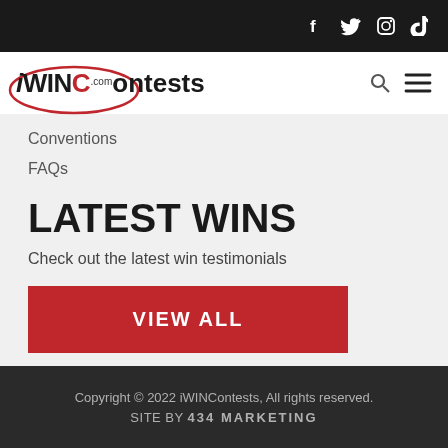iWINContests.com — social icons: f, Twitter, Instagram, TikTok
[Figure (logo): iWINContests.com logo with red oval outline around the 'i', bold black text, and .com superscript]
Conventions
FAQs
LATEST WINS
Check out the latest win testimonials
VIEW ALL
Copyright © 2022 iWINContests, All rights reserved. SITE BY 434 MARKETING